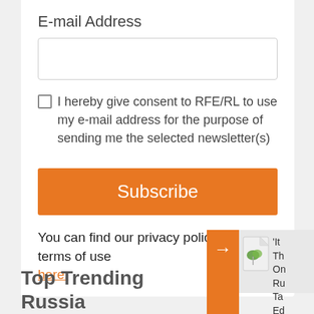E-mail Address
I hereby give consent to RFE/RL to use my e-mail address for the purpose of sending me the selected newsletter(s)
Subscribe
You can find our privacy policy and terms of use here.
Top Trending Russia
'It Th On Ru Ta Ed